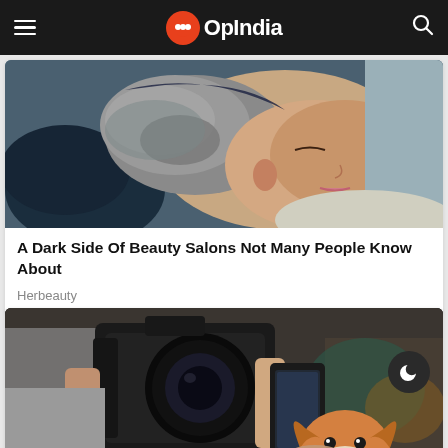OpIndia
[Figure (photo): Person leaning back at a hair washing basin in a beauty salon, silver/grey curly hair, eyes closed]
A Dark Side Of Beauty Salons Not Many People Know About
Herbeauty
[Figure (photo): Person holding a DSLR camera and a smartphone photographing a corgi dog at what appears to be an event or pet cafe, people in the background]